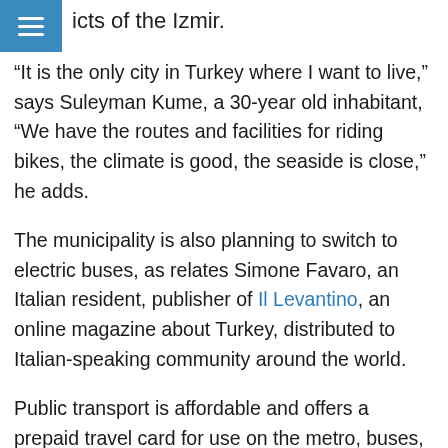icts of the Izmir.
“It is the only city in Turkey where I want to live,” says Suleyman Kume, a 30-year old inhabitant, “We have the routes and facilities for riding bikes, the climate is good, the seaside is close,” he adds.
The municipality is also planning to switch to electric buses, as relates Simone Favaro, an Italian resident, publisher of Il Levantino, an online magazine about Turkey, distributed to Italian-speaking community around the world.
Public transport is affordable and offers a prepaid travel card for use on the metro, buses, ferries and bikes. A single fare allows users access to the network for a 90-minute period. “All these amenities are in fact an invitation to leave cars and benefit from public transport,” explains Favaro, “Even if many people are still very much tempted to use